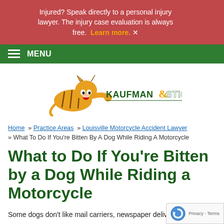Injured? Speak directly to a personal injury lawyer. The injury case evaluation is always free. Learn more.
MENU
[Figure (logo): Kaufman & Stigger, PLLC Injury Lawyers logo with a tiger mascot]
Home » Practice Areas » Louisville Motorcycle Accident Lawyer » What To Do If You're Bitten By A Dog While Riding A Motorcycle
What to Do If You're Bitten by a Dog While Riding a Motorcycle
Some dogs don't like mail carriers, newspaper deliver...